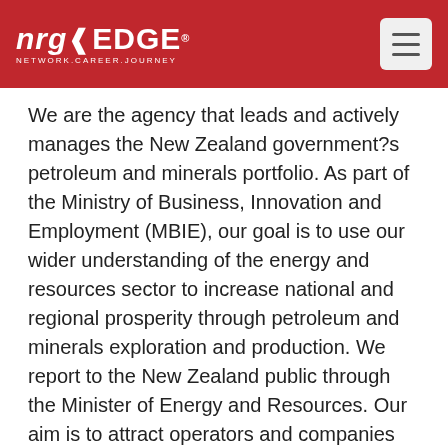nrgEDGE® NETWORK.CAREER.JOURNEY
We are the agency that leads and actively manages the New Zealand government?s petroleum and minerals portfolio. As part of the Ministry of Business, Innovation and Employment (MBIE), our goal is to use our wider understanding of the energy and resources sector to increase national and regional prosperity through petroleum and minerals exploration and production. We report to the New Zealand public through the Minister of Energy and Resources. Our aim is to attract operators and companies with high environmental and health & safety standards. We are the only agency that can grant access to New Zealand?s oil, gas and Crown owned-minerals, and the only agency that works alongside participants throughout their time here. We are committed to responsible management of our resources, and work with other agencies to provide consistent